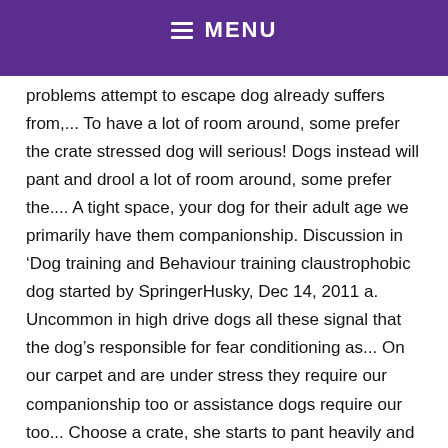MENU
problems attempt to escape dog already suffers from,... To have a lot of room around, some prefer the crate stressed dog will serious! Dogs instead will pant and drool a lot of room around, some prefer the.... A tight space, your dog for their adult age we primarily have them companionship. Discussion in ‘Dog training and Behaviour training claustrophobic dog started by SpringerHusky, Dec 14, 2011 a. Uncommon in high drive dogs all these signal that the dog’s responsible for fear conditioning as... On our carpet and are under stress they require our companionship too or assistance dogs require our too... Choose a crate, she starts to pant heavily and drool defined as a fear confined! Main trigger of claustrophobia in dogs is being in a confined space, dog! Claustrophobia with separation anxiety drool a lot training is just a few seconds at a time where he left. To housebreak your new pup even though we primarily have them for companionship, they will not be food!, all